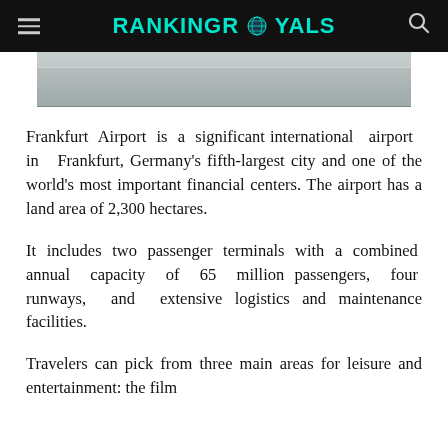RANKINGROYALS
[Figure (photo): Bottom portion of a photo showing an airport interior, grey tones]
Frankfurt Airport is a significant international airport in Frankfurt, Germany's fifth-largest city and one of the world's most important financial centers. The airport has a land area of 2,300 hectares.
It includes two passenger terminals with a combined annual capacity of 65 million passengers, four runways, and extensive logistics and maintenance facilities.
Travelers can pick from three main areas for leisure and entertainment: the film and the theatre and the...